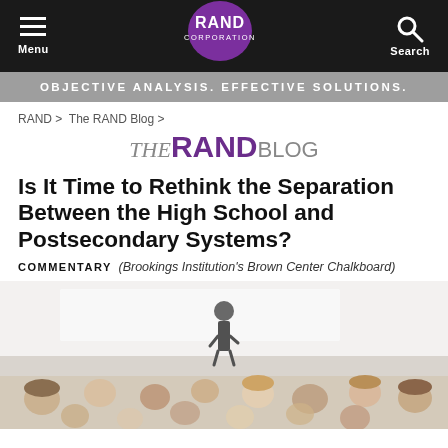Menu | RAND Corporation | Search
OBJECTIVE ANALYSIS. EFFECTIVE SOLUTIONS.
RAND > The RAND Blog >
THE RAND BLOG
Is It Time to Rethink the Separation Between the High School and Postsecondary Systems?
COMMENTARY (Brookings Institution's Brown Center Chalkboard)
[Figure (photo): Photograph of a classroom lecture scene with a presenter standing at the front and students seated facing them, viewed from behind the audience.]